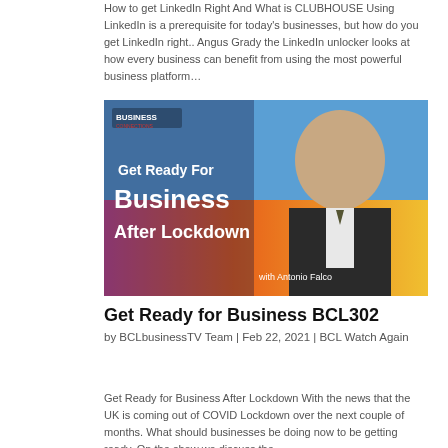How to get LinkedIn Right And What is CLUBHOUSE Using LinkedIn is a prerequisite for today's businesses, but how do you get LinkedIn right.. Angus Grady the LinkedIn unlocker looks at how every business can benefit from using the most powerful business platform...
[Figure (photo): Promotional image for 'Get Ready For Business After Lockdown with Antonio Falco' from Business Connections TV, featuring a man in a suit with colorful background graphics and the show title text.]
Get Ready for Business BCL302
by BCLbusinessTV Team | Feb 22, 2021 | BCL Watch Again
Get Ready for Business After Lockdown With the news that the UK is coming out of COVID Lockdown over the next couple of months. What should businesses be doing now to be getting ready. On the show we discuss the